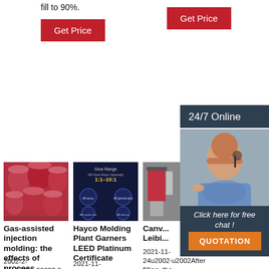fill to 90%.
Get Price
Get Price
24/7 Online
[Figure (photo): Red industrial drums/barrels stacked in rows]
[Figure (infographic): Dark blue diagram showing AB Flow Ratio Optimally 1:1-10:1 with circular images]
[Figure (photo): Industrial equipment photo (partial, grey background)]
[Figure (photo): Woman with headset smiling, customer service representative]
Gas-assisted injection molding: the effects of process ...
2002-2-14u2002·u20022.3...
Hayco Molding Plant Garners LEED Platinum Certificate
2021-11-26u2002·u2002The newest production
Canv... Leibi...
2021-11-24u2002·u2002After filling, the can... to that position. Just before the cans get
Click here for free chat !
QUOTATION